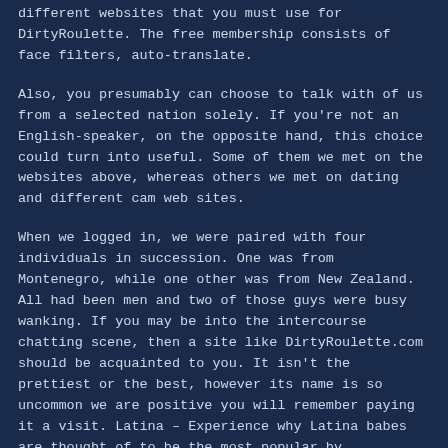different websites that you must use for DirtyRoulette. The free membership consists of face filters, auto-translate.
Also, you presumably can choose to talk with of us from a selected nation solely. If you're not an English-speaker, on the opposite hand, this choice could turn into useful. Some of them we met on the websites above, whereas others we met on dating and different cam web sites.
When we logged in, we were paired with four individuals in succession. One was from Montenegro, while one other was from New Zealand. All had been men and two of those guys were busy wanking. If you may be into the intercourse chatting scene, then a site like DirtyRoulette.com should be acquainted to you. It isn't the prettiest or the best, however its name is so uncommon we are positive you will remember paying it a visit. Latina – Experience why Latina babes are thought of to be the most popular by navigating this category.
If you may be looking for a female, it's good to filter simply females. For those who choose males, it is potential to make use of filters after becoming a VIP. They are generally referring to themselves as Cam2Cam Chat roulette style. The website additionally has random cams and filters a list of people one want to see. There are a variety of individuals